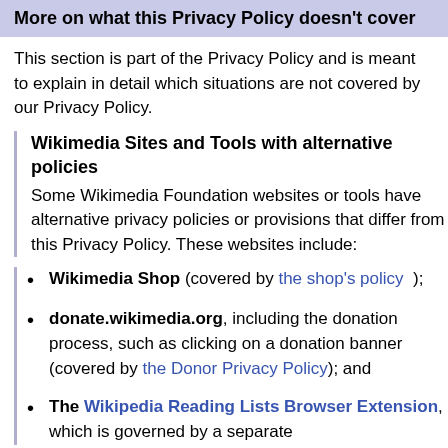More on what this Privacy Policy doesn't cover
This section is part of the Privacy Policy and is meant to explain in detail which situations are not covered by our Privacy Policy.
Wikimedia Sites and Tools with alternative policies
Some Wikimedia Foundation websites or tools have alternative privacy policies or provisions that differ from this Privacy Policy. These websites include:
Wikimedia Shop (covered by the shop's policy );
donate.wikimedia.org, including the donation process, such as clicking on a donation banner (covered by the Donor Privacy Policy); and
The Wikipedia Reading Lists Browser Extension, which is governed by a separate